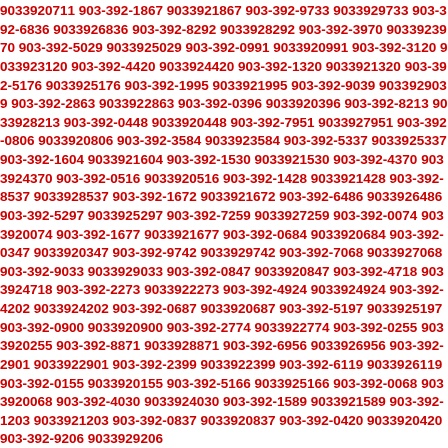9033920711 903-392-1867 9033921867 903-392-9733 9033929733 903-392-6836 9033926836 903-392-8292 9033928292 903-392-3970 9033923970 903-392-5029 9033925029 903-392-0991 9033920991 903-392-3120 9033923120 903-392-4420 9033924420 903-392-1320 9033921320 903-392-5176 9033925176 903-392-1995 9033921995 903-392-9039 9033929039 903-392-2863 9033922863 903-392-0396 9033920396 903-392-8213 9033928213 903-392-0448 9033920448 903-392-7951 9033927951 903-392-0806 9033920806 903-392-3584 9033923584 903-392-5337 9033925337 903-392-1604 9033921604 903-392-1530 9033921530 903-392-4370 9033924370 903-392-0516 9033920516 903-392-1428 9033921428 903-392-8537 9033928537 903-392-1672 9033921672 903-392-6486 9033926486 903-392-5297 9033925297 903-392-7259 9033927259 903-392-0074 9033920074 903-392-1677 9033921677 903-392-0684 9033920684 903-392-0347 9033920347 903-392-9742 9033929742 903-392-7068 9033927068 903-392-9033 9033929033 903-392-0847 9033920847 903-392-4718 9033924718 903-392-2273 9033922273 903-392-4924 9033924924 903-392-4202 9033924202 903-392-0687 9033920687 903-392-5197 9033925197 903-392-0900 9033920900 903-392-2774 9033922774 903-392-0255 9033920255 903-392-8871 9033928871 903-392-6956 9033926956 903-392-2901 9033922901 903-392-2399 9033922399 903-392-6119 9033926119 903-392-0155 9033920155 903-392-5166 9033925166 903-392-0068 9033920068 903-392-4030 9033924030 903-392-1589 9033921589 903-392-1203 9033921203 903-392-0837 9033920837 903-392-0420 9033920420 903-392-9206 9033929206